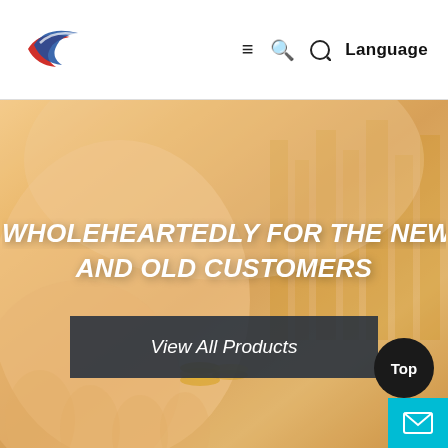[Figure (logo): Company logo with blue and red swoosh/wing graphic]
≡  🔍  Language
[Figure (photo): Hero banner image showing hands holding coins with golden city building overlay, warm orange/gold tones]
WHOLEHEARTEDLY FOR THE NEW AND OLD CUSTOMERS
View All Products
Top
[Figure (other): Email/mail icon button in cyan/teal background]